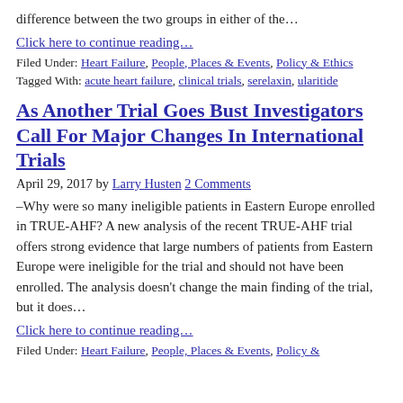difference between the two groups in either of the…
Click here to continue reading…
Filed Under: Heart Failure, People, Places & Events, Policy & Ethics Tagged With: acute heart failure, clinical trials, serelaxin, ularitide
As Another Trial Goes Bust Investigators Call For Major Changes In International Trials
April 29, 2017 by Larry Husten 2 Comments
–Why were so many ineligible patients in Eastern Europe enrolled in TRUE-AHF? A new analysis of the recent TRUE-AHF trial offers strong evidence that large numbers of patients from Eastern Europe were ineligible for the trial and should not have been enrolled. The analysis doesn't change the main finding of the trial, but it does…
Click here to continue reading…
Filed Under: Heart Failure, People, Places & Events, Policy &